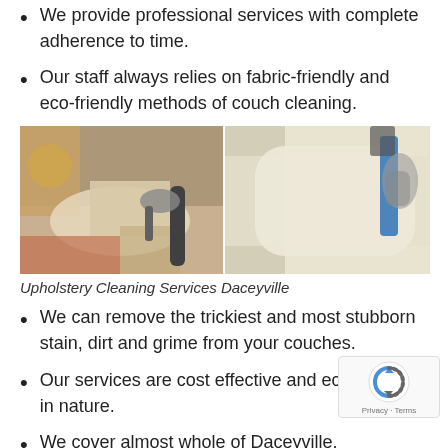We provide professional services with complete adherence to time.
Our staff always relies on fabric-friendly and eco-friendly methods of couch cleaning.
[Figure (photo): Two side-by-side photos showing upholstery cleaning services: left photo shows a person cleaning a white couch cushion with equipment, right photo shows a close-up of a cleaning tool on white upholstery.]
Upholstery Cleaning Services Daceyville
We can remove the trickiest and most stubborn stain, dirt and grime from your couches.
Our services are cost effective and eco-friendly in nature.
We cover almost whole of Daceyville.
We take care of both residential and commercial